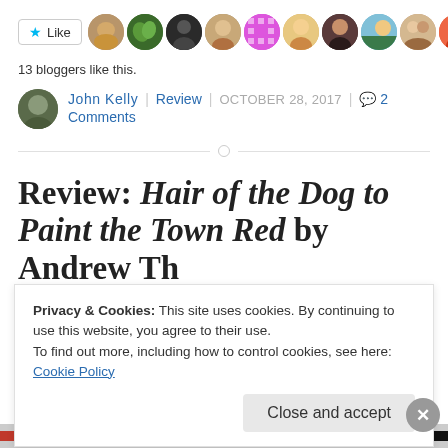[Figure (screenshot): Like button and blogger avatar strip showing 13 bloggers like this]
13 bloggers like this.
John Kelly | Review | OCTOBER 28, 2017 | 💬 2 Comments
Review: Hair of the Dog to Paint the Town Red by Andrew Thompson
Privacy & Cookies: This site uses cookies. By continuing to use this website, you agree to their use.
To find out more, including how to control cookies, see here: Cookie Policy
Close and accept